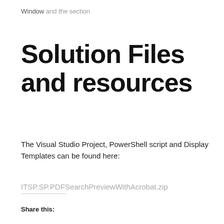Window and the section
Solution Files and resources
The Visual Studio Project, PowerShell script and Display Templates can be found here:
ITSP.SP.PDFSearchPreviewWithAcrobat.zip
Share this: